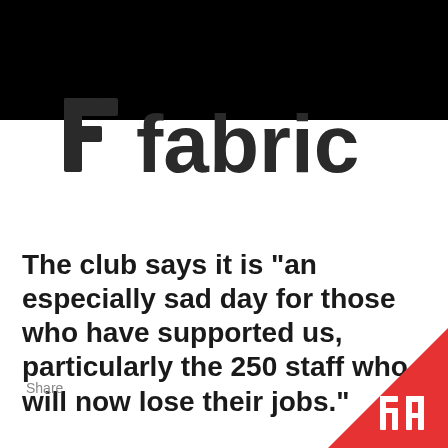[Figure (logo): fabric nightclub logo — stylized 'f' icon followed by the word 'fabric' in bold dark grey sans-serif]
The club says it is "an especially sad day for those who have supported us, particularly the 250 staff who will now lose their jobs."
Share
[Figure (logo): Resident Advisor (RA) logo in white on red triangle corner]